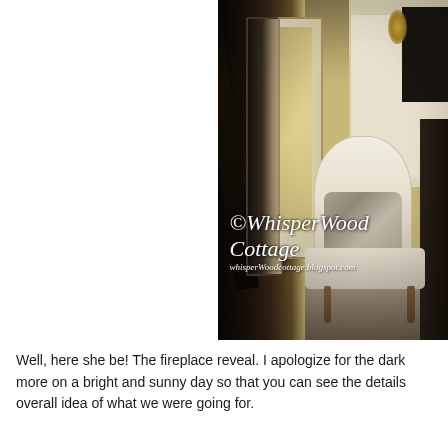[Figure (photo): Interior living room photo showing a white upholstered slipper chair with striped pillow, a dark wood leaning mirror on the left, built-in white shelving with a window, a fireplace on the right edge, and a chandelier visible through the window/reflection. Watermark reads '©WhisperWood Cottage' and 'whisperWoodcottage.blogspot.com'.]
Well, here she be! The fireplace reveal. I apologize for the dark more on a bright and sunny day so that you can see the details overall idea of what we were going for.